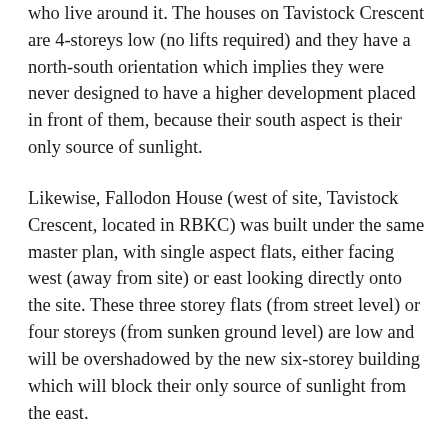who live around it. The houses on Tavistock Crescent are 4-storeys low (no lifts required) and they have a north-south orientation which implies they were never designed to have a higher development placed in front of them, because their south aspect is their only source of sunlight.
Likewise, Fallodon House (west of site, Tavistock Crescent, located in RBKC) was built under the same master plan, with single aspect flats, either facing west (away from site) or east looking directly onto the site. These three storey flats (from street level) or four storeys (from sunken ground level) are low and will be overshadowed by the new six-storey building which will block their only source of sunlight from the east.